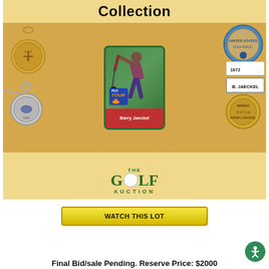Collection
[Figure (photo): Auction catalog image showing Barry Jaeckel golf memorabilia collection including PGA Tour card, gold medals, silver medal, 1972 B. Jaeckel badge, and The Golf Auction logo]
WATCH THIS LOT
Final Bid/sale Pending. Reserve Price: $2000